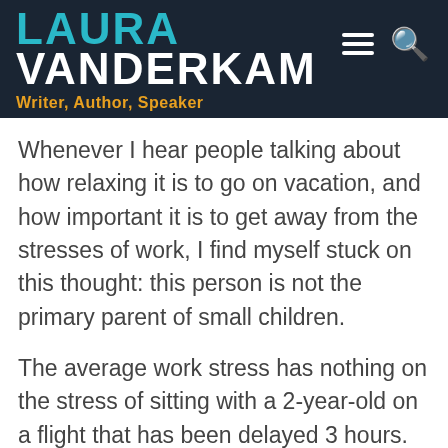LAURA VANDERKAM
Writer, Author, Speaker
Whenever I hear people talking about how relaxing it is to go on vacation, and how important it is to get away from the stresses of work, I find myself stuck on this thought: this person is not the primary parent of small children.
The average work stress has nothing on the stress of sitting with a 2-year-old on a flight that has been delayed 3 hours. Things that are relaxing outside the context of toddlers — a roaring fire in the fireplace! An infinity pool